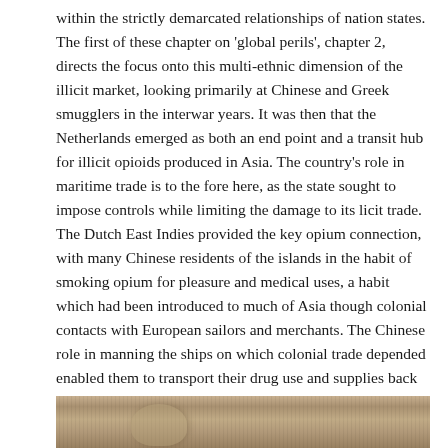within the strictly demarcated relationships of nation states. The first of these chapter on 'global perils', chapter 2, directs the focus onto this multi-ethnic dimension of the illicit market, looking primarily at Chinese and Greek smugglers in the interwar years. It was then that the Netherlands emerged as both an end point and a transit hub for illicit opioids produced in Asia. The country's role in maritime trade is to the fore here, as the state sought to impose controls while limiting the damage to its licit trade. The Dutch East Indies provided the key opium connection, with many Chinese residents of the islands in the habit of smoking opium for pleasure and medical uses, a habit which had been introduced to much of Asia though colonial contacts with European sailors and merchants. The Chinese role in manning the ships on which colonial trade depended enabled them to transport their drug use and supplies back to the European end of the pole.
[Figure (photo): Bottom portion of a sepia-toned historical photograph, partially visible at the bottom of the page.]